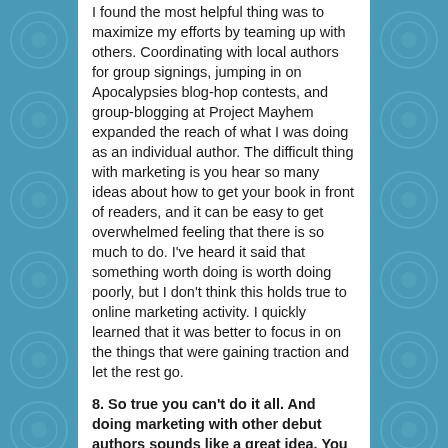I found the most helpful thing was to maximize my efforts by teaming up with others. Coordinating with local authors for group signings, jumping in on Apocalypsies blog-hop contests, and group-blogging at Project Mayhem expanded the reach of what I was doing as an individual author. The difficult thing with marketing is you hear so many ideas about how to get your book in front of readers, and it can be easy to get overwhelmed feeling that there is so much to do. I've heard it said that something worth doing is worth doing poorly, but I don't think this holds true to online marketing activity. I quickly learned that it was better to focus in on the things that were gaining traction and let the rest go.
8. So true you can't do it all. And doing marketing with other debut authors sounds like a great idea. You posted a blog post recently about how you've cut off the Internet at your house and are going offline more.